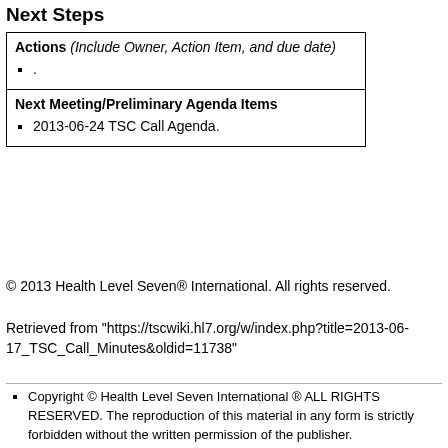Next Steps
| Actions (Include Owner, Action Item, and due date)
  • . |
| Next Meeting/Preliminary Agenda Items
  • 2013-06-24 TSC Call Agenda. |
© 2013 Health Level Seven® International. All rights reserved.
Retrieved from "https://tscwiki.hl7.org/w/index.php?title=2013-06-17_TSC_Call_Minutes&oldid=11738"
Copyright © Health Level Seven International ® ALL RIGHTS RESERVED. The reproduction of this material in any form is strictly forbidden without the written permission of the publisher.